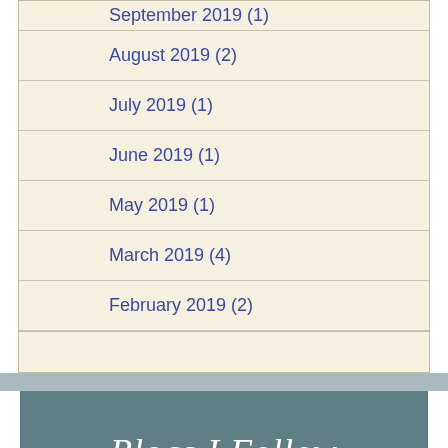September 2019 (1)
August 2019 (2)
July 2019 (1)
June 2019 (1)
May 2019 (1)
March 2019 (4)
February 2019 (2)
Blogs I Follow
Nyssa Rae
Erin Fulmer Writes SFF